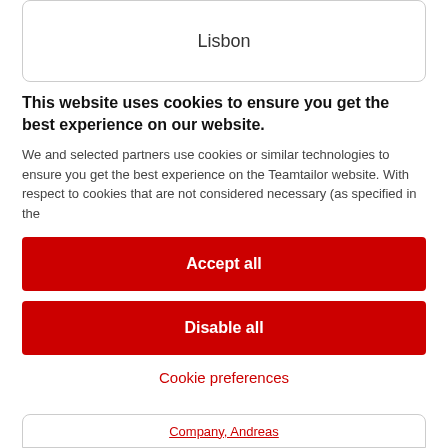Lisbon
This website uses cookies to ensure you get the best experience on our website.
We and selected partners use cookies or similar technologies to ensure you get the best experience on the Teamtailor website. With respect to cookies that are not considered necessary (as specified in the
Accept all
Disable all
Cookie preferences
Company, Andreas